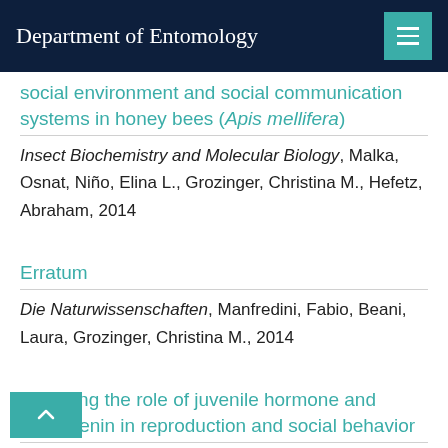Department of Entomology
social environment and social communication systems in honey bees (Apis mellifera)
Insect Biochemistry and Molecular Biology, Malka, Osnat, Niño, Elina L., Grozinger, Christina M., Hefetz, Abraham, 2014
Erratum
Die Naturwissenschaften, Manfredini, Fabio, Beani, Laura, Grozinger, Christina M., 2014
Exploring the role of juvenile hormone and vitellogenin in reproduction and social behavior